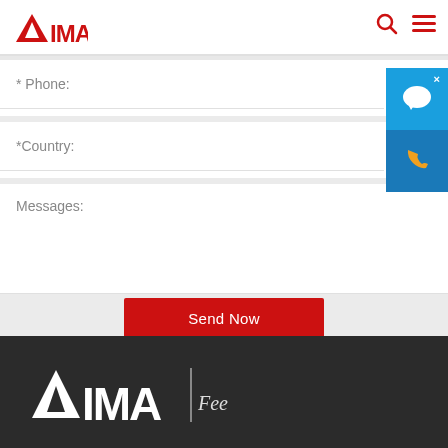[Figure (logo): LIMA brand logo — red triangular mountain icon with LIMA text, shown in header]
* Phone:
*Country:
Messages:
Send Now
[Figure (logo): LIMA white logo with tagline 'Feed Pellet Mill' in footer on dark background]